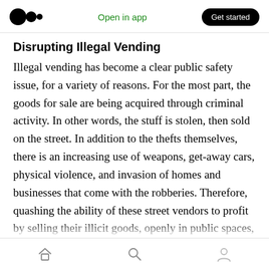Open in app | Get started
Disrupting Illegal Vending
Illegal vending has become a clear public safety issue, for a variety of reasons. For the most part, the goods for sale are being acquired through criminal activity. In other words, the stuff is stolen, then sold on the street. In addition to the thefts themselves, there is an increasing use of weapons, get-away cars, physical violence, and invasion of homes and businesses that come with the robberies. Therefore, quashing the ability of these street vendors to profit by selling their illicit goods, openly in public spaces, must be a
Home | Search | Profile